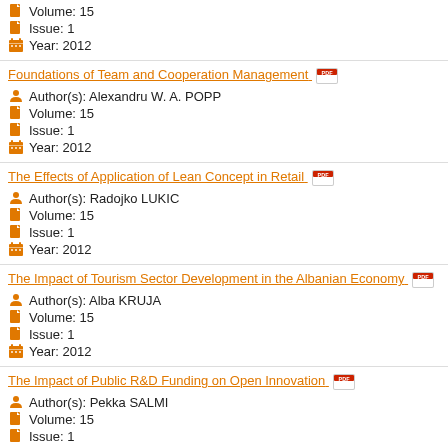Volume: 15
Issue: 1
Year: 2012
Foundations of Team and Cooperation Management
Author(s): Alexandru W. A. POPP
Volume: 15
Issue: 1
Year: 2012
The Effects of Application of Lean Concept in Retail
Author(s): Radojko LUKIC
Volume: 15
Issue: 1
Year: 2012
The Impact of Tourism Sector Development in the Albanian Economy
Author(s): Alba KRUJA
Volume: 15
Issue: 1
Year: 2012
The Impact of Public R&D Funding on Open Innovation
Author(s): Pekka SALMI
Volume: 15
Issue: 1